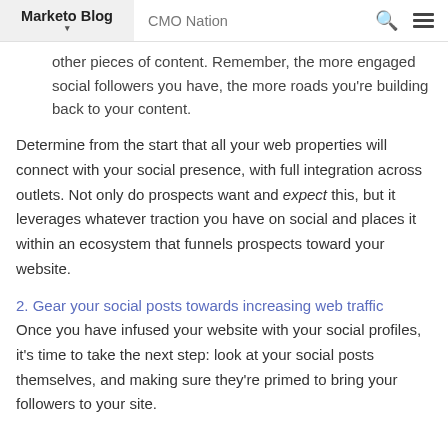Marketo Blog | CMO Nation
other pieces of content. Remember, the more engaged social followers you have, the more roads you're building back to your content.
Determine from the start that all your web properties will connect with your social presence, with full integration across outlets. Not only do prospects want and expect this, but it leverages whatever traction you have on social and places it within an ecosystem that funnels prospects toward your website.
2. Gear your social posts towards increasing web traffic
Once you have infused your website with your social profiles, it's time to take the next step: look at your social posts themselves, and making sure they're primed to bring your followers to your site.